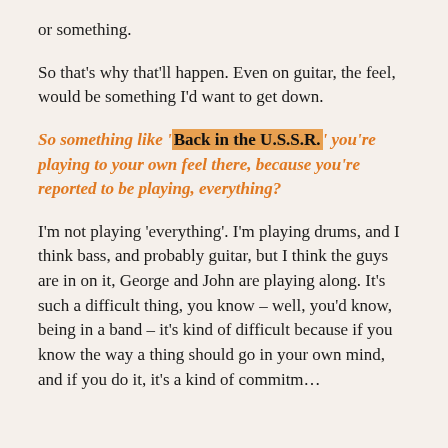or something.
So that's why that'll happen. Even on guitar, the feel, would be something I'd want to get down.
So something like 'Back in the U.S.S.R.' you're playing to your own feel there, because you're reported to be playing, everything?
I'm not playing 'everything'. I'm playing drums, and I think bass, and probably guitar, but I think the guys are in on it, George and John are playing along. It's such a difficult thing, you know – well, you'd know, being in a band – it's kind of difficult because if you know the way a thing should go in your own mind, and if you do it, it's a kind of commitment.